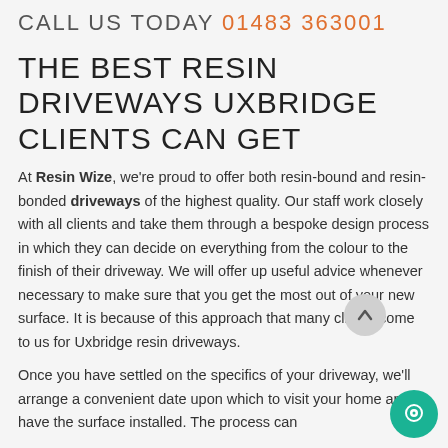CALL US TODAY 01483 363001
THE BEST RESIN DRIVEWAYS UXBRIDGE CLIENTS CAN GET
At Resin Wize, we're proud to offer both resin-bound and resin-bonded driveways of the highest quality. Our staff work closely with all clients and take them through a bespoke design process in which they can decide on everything from the colour to the finish of their driveway. We will offer up useful advice whenever necessary to make sure that you get the most out of your new surface. It is because of this approach that many clients come to us for Uxbridge resin driveways.
Once you have settled on the specifics of your driveway, we'll arrange a convenient date upon which to visit your home and have the surface installed. The process can